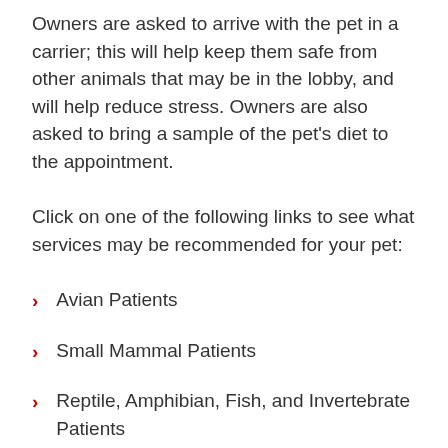Owners are asked to arrive with the pet in a carrier; this will help keep them safe from other animals that may be in the lobby, and will help reduce stress. Owners are also asked to bring a sample of the pet's diet to the appointment.
Click on one of the following links to see what services may be recommended for your pet:
Avian Patients
Small Mammal Patients
Reptile, Amphibian, Fish, and Invertebrate Patients
Please call 919-513-6999 if you have any questions about the Exotic Animal Medicine Service, or to make an appointment. You can also e-mail the service at vhcexoticmedicine@ncsu.edu. If you are having an emergency outside of business hours, please call 919-513-...